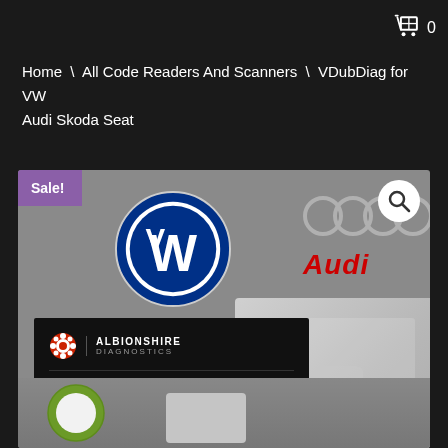0
Home \ All Code Readers And Scanners \ VDubDiag for VW Audi Skoda Seat
[Figure (photo): Product page image showing VW logo, Audi logo, Albionshire Diagnostics VDubDiag product card with 'Sale!' badge, magnify icon, hardware device box, and partial logos at bottom. Purple sale badge top-left. Text on card: ALBIONSHIRE DIAGNOSTICS, VDubDiag, BETTER DIAGNOSTICS. BETTER PERFORMANCE., SPECIALIST SCANNER FOR AUDI / VW / SKODA / SEAT, UNLIMITED EDITION (red badge).]